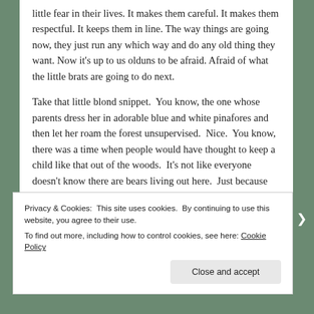little fear in their lives. It makes them careful. It makes them respectful. It keeps them in line. The way things are going now, they just run any which way and do any old thing they want. Now it's up to us olduns to be afraid. Afraid of what the little brats are going to do next.
Take that little blond snippet.  You know, the one whose parents dress her in adorable blue and white pinafores and then let her roam the forest unsupervised.  Nice.  You know, there was a time when people would have thought to keep a child like that out of the woods.  It's not like everyone doesn't know there are bears living out here.  Just because we have better things to eat for breakfast than small children doesn't mean that we don't still deserve respect.
Privacy & Cookies: This site uses cookies. By continuing to use this website, you agree to their use. To find out more, including how to control cookies, see here: Cookie Policy